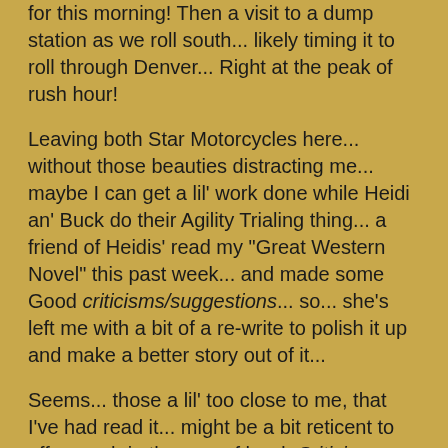for this morning! Then a visit to a dump station as we roll south... likely timing it to roll through Denver... Right at the peak of rush hour!
Leaving both Star Motorcycles here... without those beauties distracting me... maybe I can get a lil' work done while Heidi an' Buck do their Agility Trialing thing... a friend of Heidis' read my "Great Western Novel" this past week... and made some Good criticisms/suggestions... so... she's left me with a bit of a re-write to polish it up and make a better story out of it...
Seems... those a lil' too close to me, that I've had read it... might be a bit reticent to offer much in the way of hard, Criticism. Hmmm... must think I'm a fella with to fragile an ego, to endure such barbs huh? :o) ... actually... it's pretty cool that I've got folks around me who think that way... and give a damn about it!
anyway... maybe I can get started on that job... sitting in the sun in Kiowa!
Take Good Care...